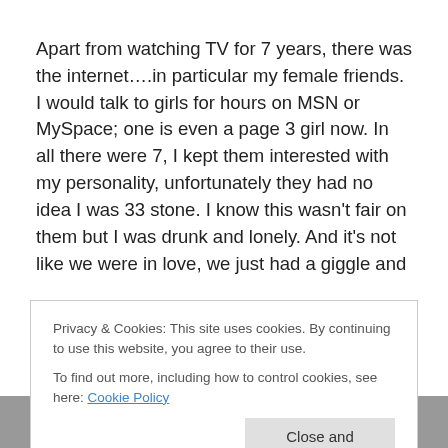Apart from watching TV for 7 years, there was the internet….in particular my female friends. I would talk to girls for hours on MSN or MySpace; one is even a page 3 girl now. In all there were 7, I kept them interested with my personality, unfortunately they had no idea I was 33 stone. I know this wasn't fair on them but I was drunk and lonely. And it's not like we were in love, we just had a giggle and
Privacy & Cookies: This site uses cookies. By continuing to use this website, you agree to their use.
To find out more, including how to control cookies, see here: Cookie Policy
[Figure (photo): Partial view of photos/images at the bottom of the page, partially obscured by cookie banner]